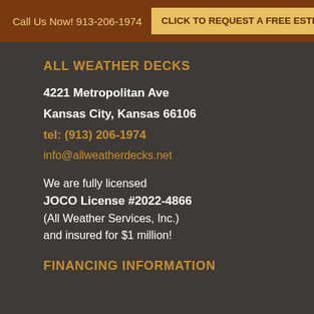Call Us Now! 913-206-1974   CLICK TO REQUEST A FREE ESTIMATE
ALL WEATHER DECKS
4221 Metropolitan Ave
Kansas City, Kansas 66106
tel: (913) 206-1974
info@allweatherdecks.net
We are fully licensed
JOCO License #2022-4866
(All Weather Services, Inc.)
and insured for $1 million!
FINANCING INFORMATION